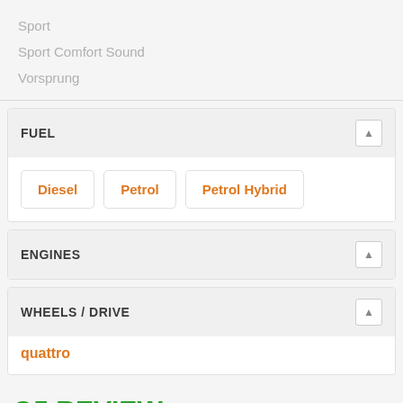Sport
Sport Comfort Sound
Vorsprung
FUEL
Diesel | Petrol | Petrol Hybrid
ENGINES
WHEELS / DRIVE
quattro
Q5 REVIEW